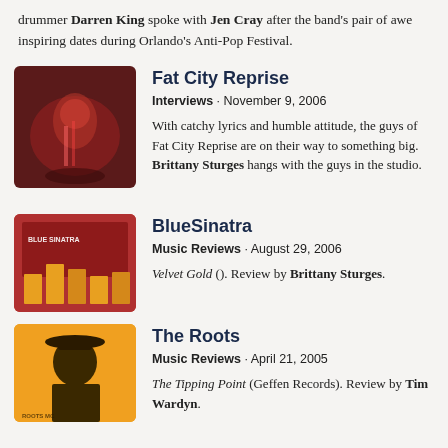drummer Darren King spoke with Jen Cray after the band's pair of awe inspiring dates during Orlando's Anti-Pop Festival.
Fat City Reprise
Interviews · November 9, 2006
With catchy lyrics and humble attitude, the guys of Fat City Reprise are on their way to something big. Brittany Sturges hangs with the guys in the studio.
BlueSinatra
Music Reviews · August 29, 2006
Velvet Gold (). Review by Brittany Sturges.
The Roots
Music Reviews · April 21, 2005
The Tipping Point (Geffen Records). Review by Tim Wardyn.